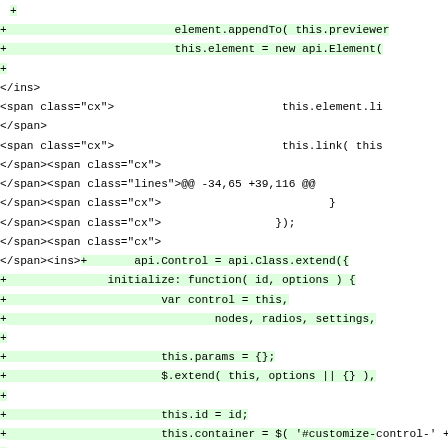Code diff showing HTML and JavaScript source with additions marked by + signs